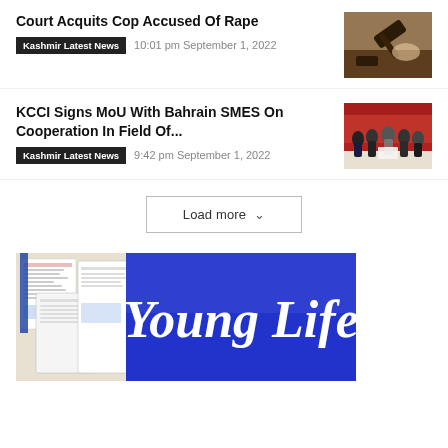Court Acquits Cop Accused Of Rape
Kashmir Latest News   10:01 pm September 1, 2022
[Figure (photo): Photo of a judge's gavel on a desk]
KCCI Signs MoU With Bahrain SMES On Cooperation In Field Of...
Kashmir Latest News   9:42 pm September 1, 2022
[Figure (photo): Group photo of people at a signing ceremony]
Load more
[Figure (illustration): Young Life magazine banner advertisement with blue background and cursive white text]